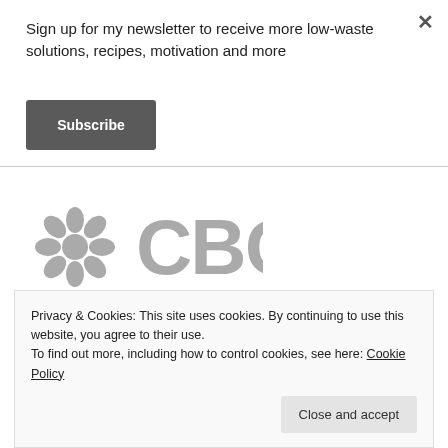Sign up for my newsletter to receive more low-waste solutions, recipes, motivation and more
Subscribe
[Figure (logo): CBC logo in grey, consisting of the CBC gem/sphere icon and the text CBC in large grey letters]
Privacy & Cookies: This site uses cookies. By continuing to use this website, you agree to their use.
To find out more, including how to control cookies, see here: Cookie Policy
Close and accept